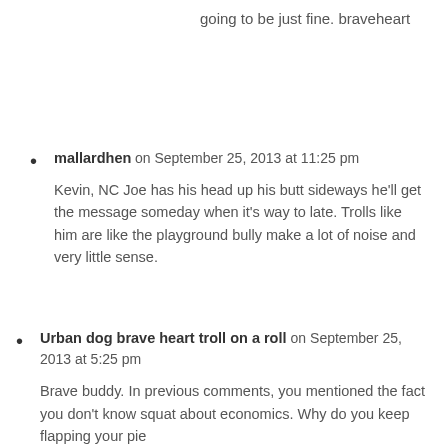going to be just fine. braveheart
mallardhen on September 25, 2013 at 11:25 pm

Kevin, NC Joe has his head up his butt sideways he'll get the message someday when it's way to late. Trolls like him are like the playground bully make a lot of noise and very little sense.
Urban dog brave heart troll on a roll on September 25, 2013 at 5:25 pm

Brave buddy. In previous comments, you mentioned the fact you don't know squat about economics. Why do you keep flapping your pie